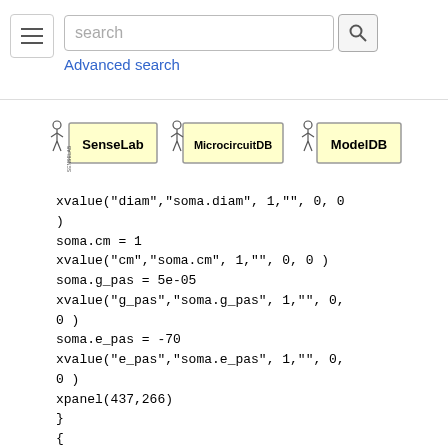search  Advanced search
[Figure (logo): SenseLab, MicrocircuitDB, and ModelDB logos]
xvalue("diam","soma.diam", 1,"", 0, 0
)
soma.cm = 1
xvalue("cm","soma.cm", 1,"", 0, 0 )
soma.g_pas = 5e-05
xvalue("g_pas","soma.g_pas", 1,"", 0,
0 )
soma.e_pas = -70
xvalue("e_pas","soma.e_pas", 1,"", 0,
0 )
xpanel(437,266)
}
{
save_window_ = new Graph(0)
save_window_.size(0,100,-70,-50)
scene_vector_[3] = save_window_
{save_window_.view(0, -70, 100, 20, 44
4, 2, 300.48, 200.32)}
graphList[0].append(save_window_)